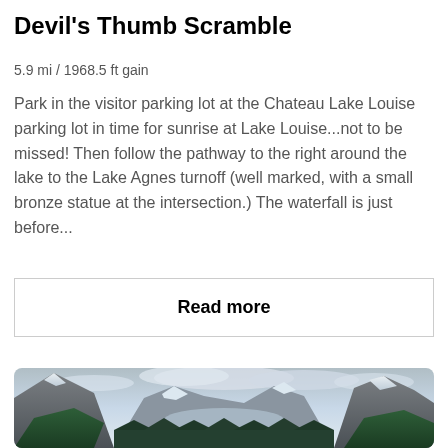Devil's Thumb Scramble
5.9 mi / 1968.5 ft gain
Park in the visitor parking lot at the Chateau Lake Louise parking lot in time for sunrise at Lake Louise...not to be missed! Then follow the pathway to the right around the lake to the Lake Agnes turnoff (well marked, with a small bronze statue at the intersection.) The waterfall is just before...
Read more
[Figure (photo): Mountain landscape with snow-capped peaks, a valley, green forested slopes, and dramatic cloudy sky — likely Lake Louise area in the Canadian Rockies.]